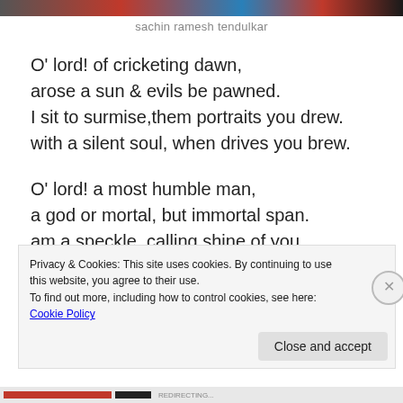[Figure (photo): Colorful image strip at top of page showing partial photo of cricket/sports scene in red, blue and dark tones]
sachin ramesh tendulkar
O' lord! of cricketing dawn,
arose a sun & evils be pawned.
I sit to surmise,them portraits you drew.
with a silent soul, when drives you brew.

O' lord! a most humble man,
a god or mortal, but immortal span.
am a speckle, calling shine of you.
in a billion clustering dime of you.
Privacy & Cookies: This site uses cookies. By continuing to use this website, you agree to their use.
To find out more, including how to control cookies, see here: Cookie Policy
Close and accept